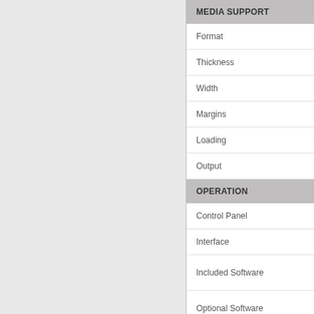MEDIA SUPPORT
Format
Thickness
Width
Margins
Loading
Output
OPERATION
Control Panel
Interface
Included Software
Optional Software
Memory
Media Output Heater Modes